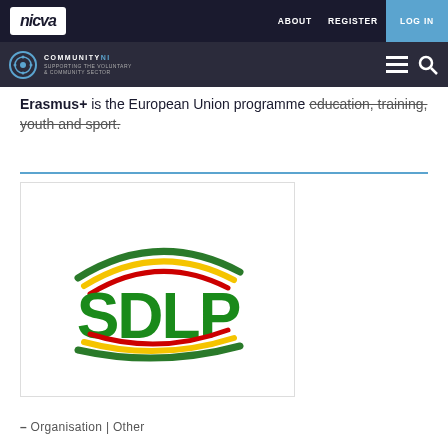nicva | ABOUT | REGISTER | LOG IN
COMMUNITY NI
Erasmus+ is the European Union programme education, training, youth and sport.
[Figure (logo): SDLP (Social Democratic and Labour Party) logo with green lettering and red/yellow/green swoosh arc above]
– Organisation | Other